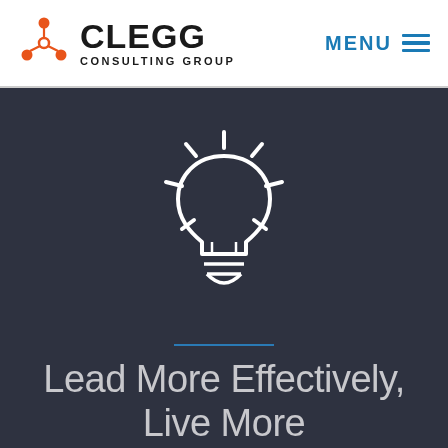[Figure (logo): Clegg Consulting Group logo with orange network icon and black text]
MENU
[Figure (illustration): White lightbulb icon with radiating lines on dark charcoal background]
Lead More Effectively, Live More Intentionally